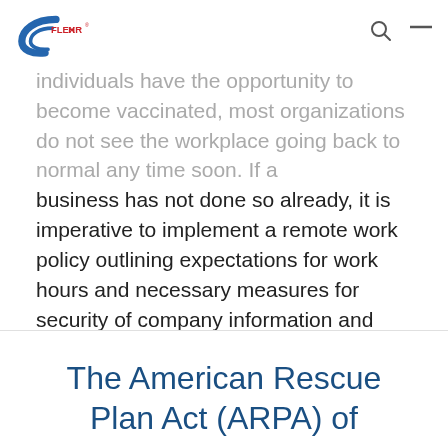Flex HR [logo with search and menu icons]
individuals have the opportunity to become vaccinated, most organizations do not see the workplace going back to normal any time soon. If a business has not done so already, it is imperative to implement a remote work policy outlining expectations for work hours and necessary measures for security of company information and publish to the Employee Handbook.
Read more
The American Rescue Plan Act (ARPA) of